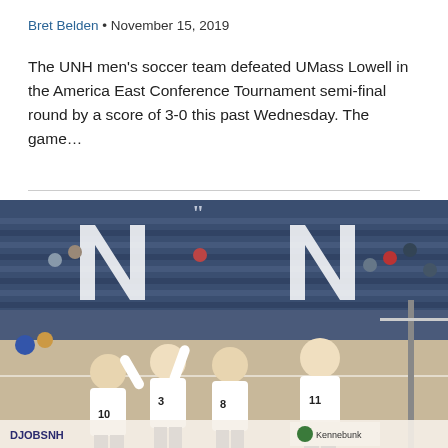Bret Belden • November 15, 2019
The UNH men's soccer team defeated UMass Lowell in the America East Conference Tournament semi-final round by a score of 3-0 this past Wednesday. The game…
[Figure (photo): UNH women's volleyball players celebrating on court, wearing white uniforms with numbers 10, 3, 8, and 11 visible, blue bleachers with spectators in background, sponsors banners visible at bottom including DJOBSNH and Kennebunk]